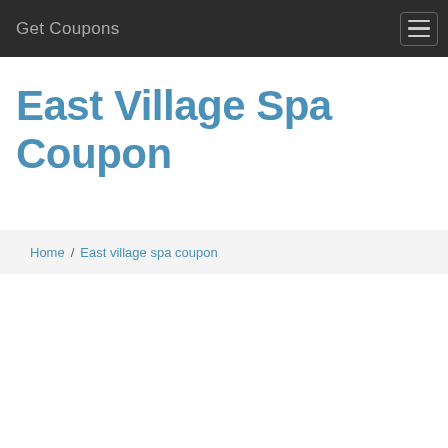Get Coupons
East Village Spa Coupon
Home / East village spa coupon